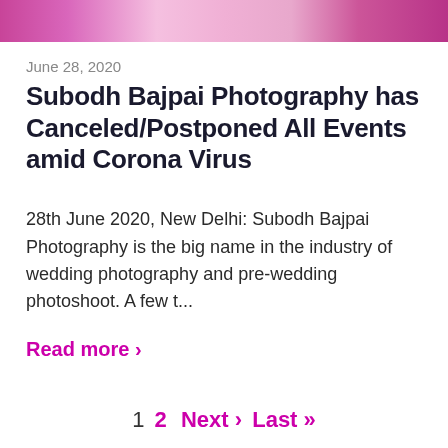[Figure (photo): Wedding photography banner image showing bride in traditional Indian bridal attire with pink/magenta tones]
June 28, 2020
Subodh Bajpai Photography has Canceled/Postponed All Events amid Corona Virus
28th June 2020, New Delhi: Subodh Bajpai Photography is the big name in the industry of wedding photography and pre-wedding photoshoot. A few t...
Read more >
1  2  Next ›  Last »